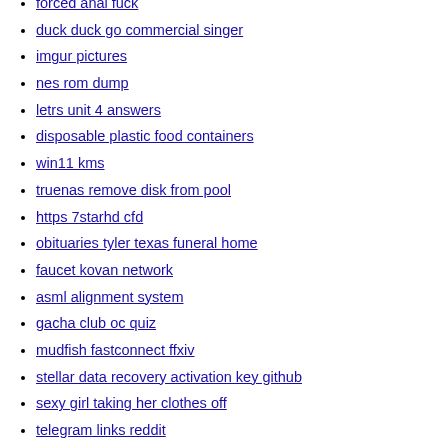forced anal fuck
duck duck go commercial singer
imgur pictures
nes rom dump
letrs unit 4 answers
disposable plastic food containers
win11 kms
truenas remove disk from pool
https 7starhd cfd
obituaries tyler texas funeral home
faucet kovan network
asml alignment system
gacha club oc quiz
mudfish fastconnect ffxiv
stellar data recovery activation key github
sexy girl taking her clothes off
telegram links reddit
6 pill cb amplifier
122100024 tax id 2021 pdf
successfactors employee central login
friv classic 2022
goldshell kd5 what to mine
skyrim futa mod
sabrina the witcher
like button image id obby creator